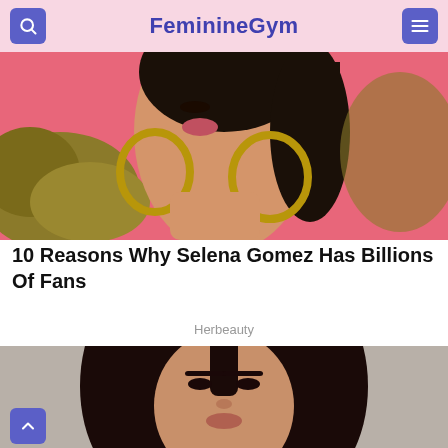FeminineGym
[Figure (photo): Woman with hoop earrings looking upward against a pink background with foliage]
10 Reasons Why Selena Gomez Has Billions Of Fans
Herbeauty
[Figure (photo): Young woman with long dark hair against a beige/grey background, facing forward]